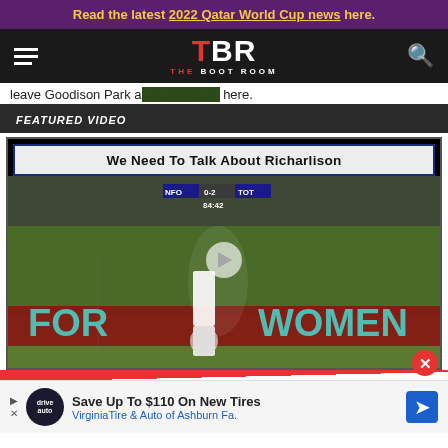Read the latest 2022 Qatar World Cup news here.
[Figure (logo): The Boot Room (TBR) website logo with hamburger menu and search icon on dark navigation bar]
leave Goodison Park a... here.
FEATURED VIDEO
[Figure (screenshot): Video thumbnail titled 'We Need To Talk About Richarlison' showing a Tottenham player controlling a ball on a football pitch with scoreboard showing NFO 0-2 TOT at 84:42, with play button overlay and FORREST WOMEN advertising board visible]
[Figure (other): Advertisement: Save Up To $110 On New Tires - Virginia Tire & Auto of Ashburn Fa.]